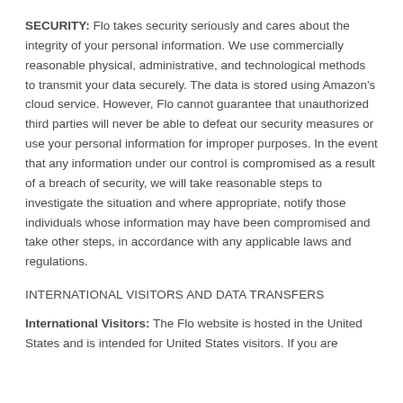SECURITY: Flo takes security seriously and cares about the integrity of your personal information. We use commercially reasonable physical, administrative, and technological methods to transmit your data securely. The data is stored using Amazon's cloud service. However, Flo cannot guarantee that unauthorized third parties will never be able to defeat our security measures or use your personal information for improper purposes. In the event that any information under our control is compromised as a result of a breach of security, we will take reasonable steps to investigate the situation and where appropriate, notify those individuals whose information may have been compromised and take other steps, in accordance with any applicable laws and regulations.
INTERNATIONAL VISITORS AND DATA TRANSFERS
International Visitors: The Flo website is hosted in the United States and is intended for United States visitors. If you are